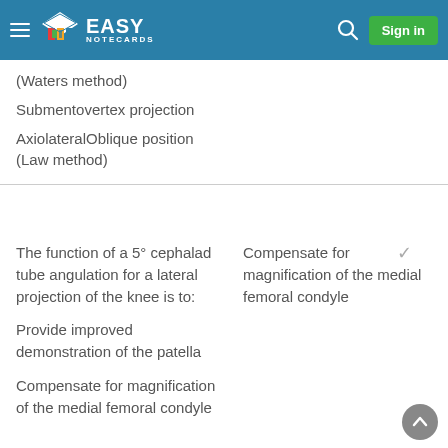Easy Notecards — Sign in
(Waters method)
Submentovertex projection
AxiolateralOblique position (Law method)
The function of a 5° cephalad tube angulation for a lateral projection of the knee is to:
Provide improved demonstration of the patella
Compensate for magnification of the medial femoral condyle
Compensate for magnification of the medial femoral condyle